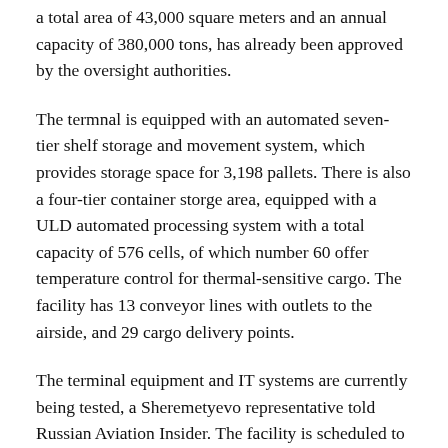a total area of 43,000 square meters and an annual capacity of 380,000 tons, has already been approved by the oversight authorities.
The termnal is equipped with an automated seven-tier shelf storage and movement system, which provides storage space for 3,198 pallets. There is also a four-tier container storge area, equipped with a ULD automated processing system with a total capacity of 576 cells, of which number 60 offer temperature control for thermal-sensitive cargo. The facility has 13 conveyor lines with outlets to the airside, and 29 cargo delivery points.
The terminal equipment and IT systems are currently being tested, a Sheremetyevo representative told Russian Aviation Insider. The facility is scheduled to become operational in September this year.
The cargo terminal project is designed to foster